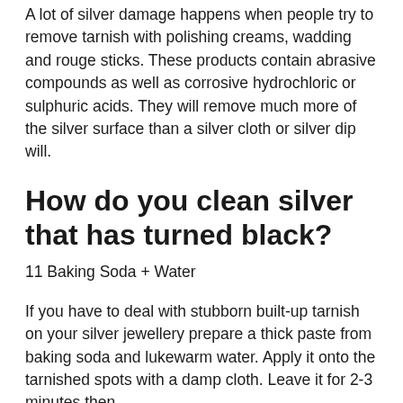A lot of silver damage happens when people try to remove tarnish with polishing creams, wadding and rouge sticks. These products contain abrasive compounds as well as corrosive hydrochloric or sulphuric acids. They will remove much more of the silver surface than a silver cloth or silver dip will.
How do you clean silver that has turned black?
11 Baking Soda + Water
If you have to deal with stubborn built-up tarnish on your silver jewellery prepare a thick paste from baking soda and lukewarm water. Apply it onto the tarnished spots with a damp cloth. Leave it for 2-3 minutes then